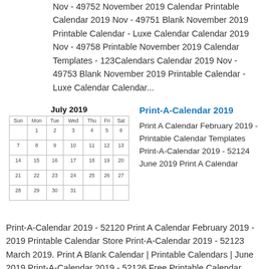Nov - 49752 November 2019 Calendar Printable Calendar 2019 Nov - 49751 Blank November 2019 Printable Calendar - Luxe Calendar Calendar 2019 Nov - 49758 Printable November 2019 Calendar Templates - 123Calendars Calendar 2019 Nov - 49753 Blank November 2019 Printable Calendar - Luxe Calendar Calendar...
[Figure (other): July 2019 monthly calendar grid with days of the week headers and numbered dates]
Print-A-Calendar 2019
Print A Calendar February 2019 - Printable Calendar Templates Print-A-Calendar 2019 - 52124 June 2019 Print A Calendar Print-A-Calendar 2019 - 52120 Print A Calendar February 2019 - 2019 Printable Calendar Store Print-A-Calendar 2019 - 52123 March 2019. Print A Blank Calendar | Printable Calendars | June 2019 Print-A-Calendar 2019 - 52126 Free Printable Calendar,...